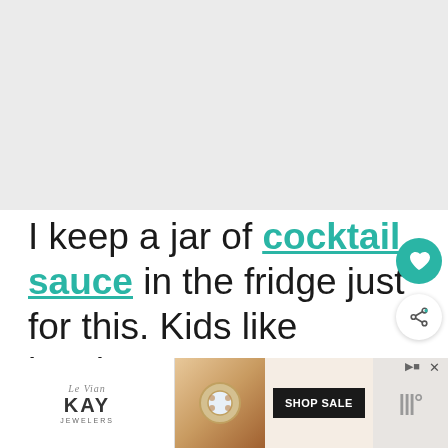[Figure (photo): Light gray placeholder image area at top of page (recipe photo area)]
I keep a jar of cocktail sauce in the fridge just for this. Kids like ketchup or our Panda Express sweet and sour sauce too.
[Figure (other): WHAT'S NEXT panel showing Frozen Waffle Fries in Air... with circular thumbnail]
[Figure (other): Le Vian KAY Jewelers advertisement banner with opal ring and SHOP SALE button]